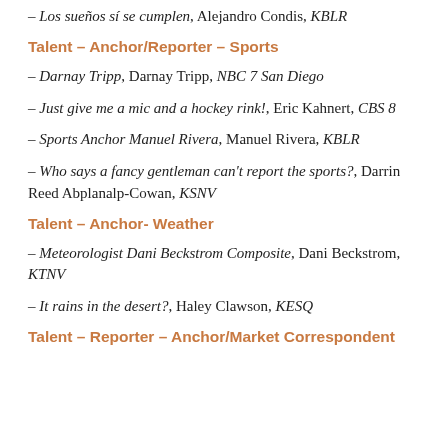– Los sueños sí se cumplen, Alejandro Condis, KBLR
Talent – Anchor/Reporter – Sports
– Darnay Tripp, Darnay Tripp, NBC 7 San Diego
– Just give me a mic and a hockey rink!, Eric Kahnert, CBS 8
– Sports Anchor Manuel Rivera, Manuel Rivera, KBLR
– Who says a fancy gentleman can't report the sports?, Darrin Reed Abplanalp-Cowan, KSNV
Talent – Anchor- Weather
– Meteorologist Dani Beckstrom Composite, Dani Beckstrom, KTNV
– It rains in the desert?, Haley Clawson, KESQ
Talent – Reporter – Anchor/Market Correspondent